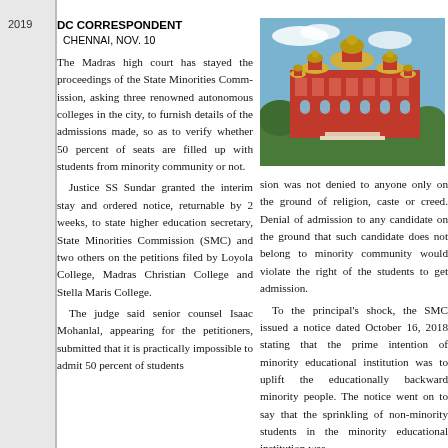2019
DC CORRESPONDENT
CHENNAI, NOV. 10
The Madras high court has stayed the proceedings of the State Minorities Comm­ission, asking three renow­ned autonomous colleges in the city, to furnish details of the admissions made, so as to verify whether 50 percent of seats are filled up with students from minority community or not. Justice SS Sundar granted the interim stay and ordered notice, returnable by 2 weeks, to state higher education secretary, State Minorities Commission (SMC) and two others on the petitions filed by Loyola College, Madras Christian College and Stella Maris College. The judge said senior counsel Isaac Mohanlal, appearing for the petition­ers, submitted that it is practically impossible to admit 50 percent of students
[Figure (photo): Photograph of the Madras High Court building — a red and white colonial-era structure with multiple golden domes, arched windows, and surrounded by green trees against a blue sky.]
sion was not denied to any­one only on the ground of religion, caste or creed. Denial of admission to any candidate on the ground that such candidate does not belong to minority com­munity would violate the right of the students to get admission. To the principal's shock, the SMC issued a notice dated October 16, 2018 stat­ing that the prime intention of minority educational institution was to uplift the educationally backward minority people. The notice went on to say that the sprinkling of non-minority students in the minority educational institution was